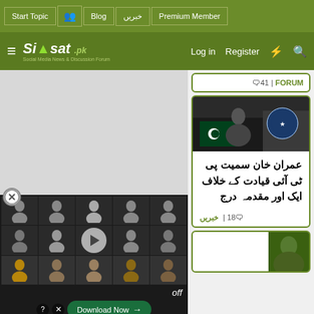Start Topic | Blog | خبریں | Premium Member | Log in | Register
[Figure (screenshot): Siasat.pk logo with tagline: Social Media News & Discussion Forum]
[Figure (screenshot): Main content area: left column with video overlay showing grid of person silhouettes with play button, right column showing news cards with Urdu text and images]
🗨41 | FORUM
[Figure (photo): News card image showing a speaker at podium with Pakistan flag and organization logo]
عمران خان سمیت پی ٹی آئی قیادت کے خلاف ایک اور مقدمہ درج
🗨18 | خبریں
Download Now →